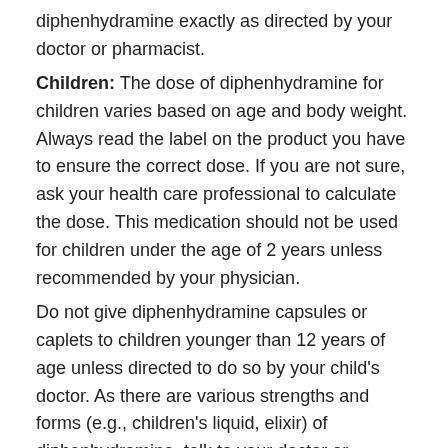diphenhydramine exactly as directed by your doctor or pharmacist.
Children: The dose of diphenhydramine for children varies based on age and body weight. Always read the label on the product you have to ensure the correct dose. If you are not sure, ask your health care professional to calculate the dose. This medication should not be used for children under the age of 2 years unless recommended by your physician.
Do not give diphenhydramine capsules or caplets to children younger than 12 years of age unless directed to do so by your child's doctor. As there are various strengths and forms (e.g., children's liquid, elixir) of diphenhydramine, talk to your doctor or pharmacist before giving this medication to a child.
Use an oral syringe to measure each dose of the liquid, as it gives a more accurate measurement than household teaspoons.
Many things can affect the dose of medication that a person needs, such as body weight, other medical conditions, and